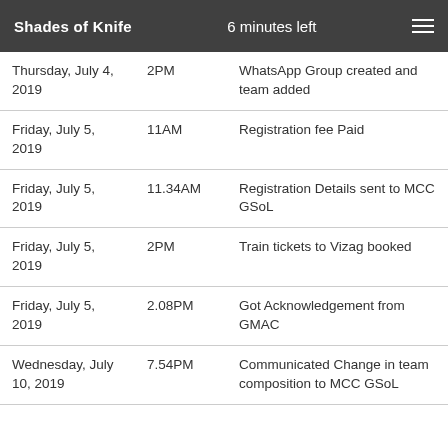Shades of Knife   6 minutes left
| Date | Time | Event |
| --- | --- | --- |
| Thursday, July 4, 2019 | 2PM | WhatsApp Group created and team added |
| Friday, July 5, 2019 | 11AM | Registration fee Paid |
| Friday, July 5, 2019 | 11.34AM | Registration Details sent to MCC GSoL |
| Friday, July 5, 2019 | 2PM | Train tickets to Vizag booked |
| Friday, July 5, 2019 | 2.08PM | Got Acknowledgement from GMAC |
| Wednesday, July 10, 2019 | 7.54PM | Communicated Change in team composition to MCC GSoL |